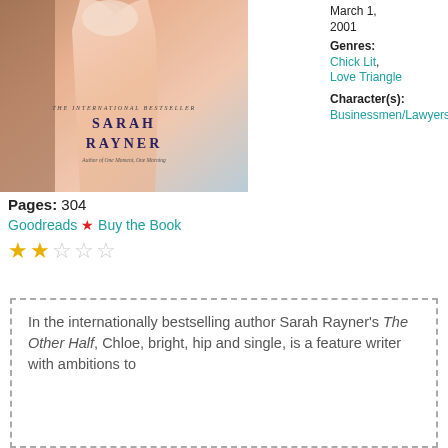[Figure (photo): Book cover of The Other Half by Sarah Rayner, showing a woman in a peach slip dress against a blurred background. Text reads 'The International Bestseller', 'Sarah Rayner', 'Author of One Moment, One Morning'.]
March 1, 2001
Genres: Chick Lit, Love Triangle
Character(s): Businessmen/Lawyers/Entrepreneurs
Pages: 304
Goodreads ★ Buy the Book
★★☆☆☆
In the internationally bestselling author Sarah Rayner's The Other Half, Chloe, bright, hip and single, is a feature writer with ambitions to